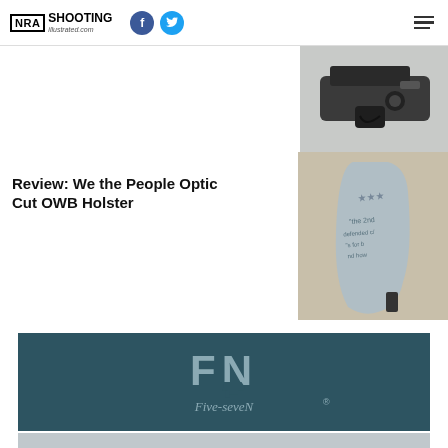NRA Shooting Illustrated .com
[Figure (photo): Partial view of an AR-style firearm lower receiver]
Review: We the People Optic Cut OWB Holster
[Figure (photo): We the People Optic Cut OWB Holster with patriotic design]
[Figure (photo): FN Five-seveN logo advertisement banner on teal/dark background]
[Figure (photo): Partial bottom strip image]